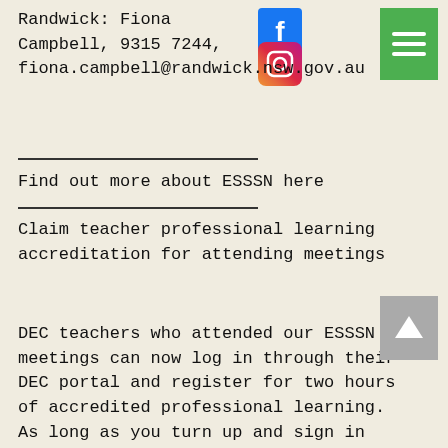Randwick: Fiona Campbell, 9315 7244, fiona.campbell@randwick.nsw.gov.au
[Figure (logo): Facebook logo icon]
[Figure (logo): Instagram logo icon]
[Figure (other): Green hamburger menu button]
Find out more about ESSSN here
Claim teacher professional learning accreditation for attending meetings
DEC teachers who attended our ESSSN meetings can now log in through their DEC portal and register for two hours of accredited professional learning. As long as you turn up and sign in you will be accredited.
[Figure (other): Grey back-to-top arrow button]